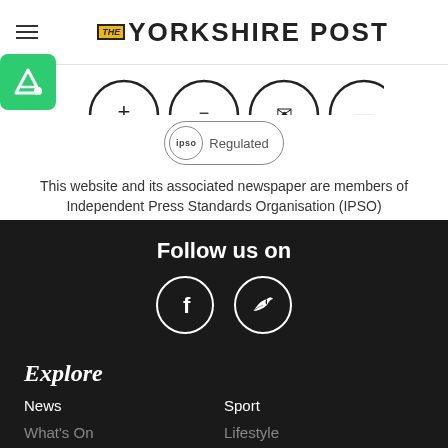THE YORKSHIRE POST
[Figure (logo): Partial social media share icons row (cropped at top)]
[Figure (logo): Green 'A.' accessibility icon badge on left side]
[Figure (logo): IPSO Regulated badge - circle with 'ipso' text and 'Regulated' label]
This website and its associated newspaper are members of Independent Press Standards Organisation (IPSO)
Follow us on
[Figure (illustration): Facebook and Twitter circular social media icons on dark background]
Explore
News
Sport
What's On
Lifestyle
Food and Drink
Yorkshire Heritage